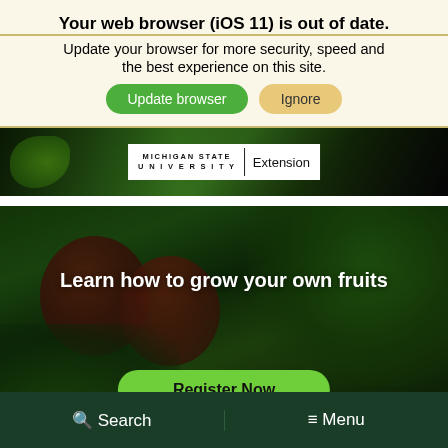Your web browser (iOS 11) is out of date.
Update your browser for more security, speed and the best experience on this site.
Update browser   Ignore
[Figure (screenshot): Michigan State University Extension gardening header image with logo]
[Figure (photo): Hero image with apples on tree, text 'Learn how to grow your own fruits' and a green 'Register Now' button]
Learn how to grow your own fruits
Register Now
Search   Menu